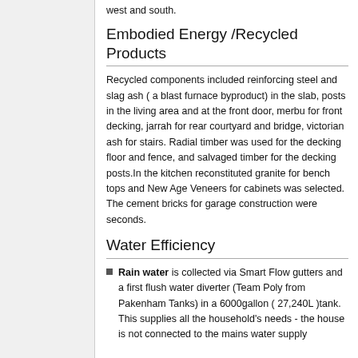west and south.
Embodied Energy /Recycled Products
Recycled components included reinforcing steel and slag ash ( a blast furnace byproduct) in the slab, posts in the living area and at the front door, merbu for front decking, jarrah for rear courtyard and bridge, victorian ash for stairs. Radial timber was used for the decking floor and fence, and salvaged timber for the decking posts.In the kitchen reconstituted granite for bench tops and New Age Veneers for cabinets was selected. The cement bricks for garage construction were seconds.
Water Efficiency
Rain water is collected via Smart Flow gutters and a first flush water diverter (Team Poly from Pakenham Tanks) in a 6000gallon ( 27,240L )tank. This supplies all the household's needs - the house is not connected to the mains water supply